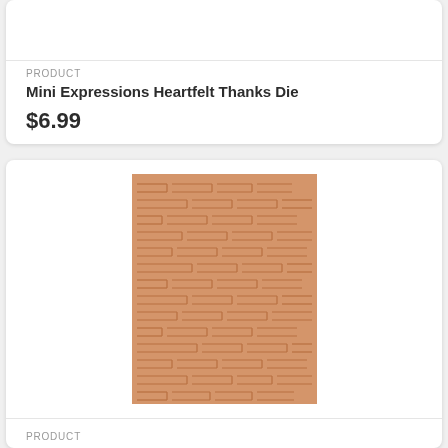PRODUCT
Mini Expressions Heartfelt Thanks Die
$6.99
[Figure (photo): A tan/beige embossed paper or cardstock sheet showing a woven leather texture pattern with interlocking rectangular segments.]
PRODUCT
Woven Leather 3D Emboss